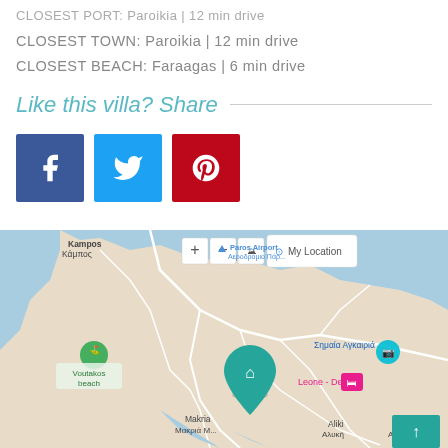CLOSEST PORT: Paroikia | 12 min drive
CLOSEST TOWN: Paroikia | 12 min drive
CLOSEST BEACH: Faraagas | 6 min drive
Like this villa? Share
[Figure (infographic): Social media share buttons: Facebook (blue), Twitter (light blue), Pinterest (red)]
[Figure (map): Google Maps showing Paros island, Greece with location pin for Leone - Deluxe villa near Makria/Μακριά area. Shows Kampos/Κάμπος, Paros Airport, Voutakos beach, Σημαία Αγκαιριά, Aliki/Αλυκή, Agkeria/Αγκαιριά labels. Map controls include zoom in/out, satellite view, and My Location button.]